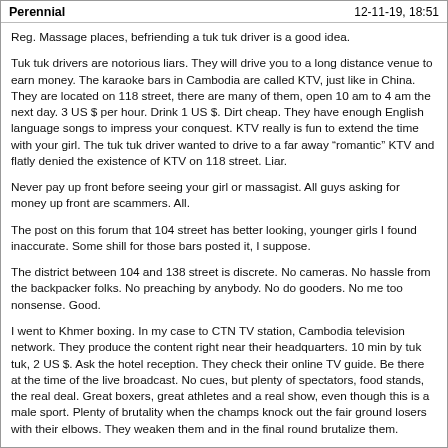Perennial   12-11-19, 18:51
Reg. Massage places, befriending a tuk tuk driver is a good idea.
Tuk tuk drivers are notorious liars. They will drive you to a long distance venue to earn money. The karaoke bars in Cambodia are called KTV, just like in China. They are located on 118 street, there are many of them, open 10 am to 4 am the next day. 3 US $ per hour. Drink 1 US $. Dirt cheap. They have enough English language songs to impress your conquest. KTV really is fun to extend the time with your girl. The tuk tuk driver wanted to drive to a far away "romantic" KTV and flatly denied the existence of KTV on 118 street. Liar.
Never pay up front before seeing your girl or massagist. All guys asking for money up front are scammers. All.
The post on this forum that 104 street has better looking, younger girls I found inaccurate. Some shill for those bars posted it, I suppose.
The district between 104 and 138 street is discrete. No cameras. No hassle from the backpacker folks. No preaching by anybody. No do gooders. No me too nonsense. Good.
I went to Khmer boxing. In my case to CTN TV station, Cambodia television network. They produce the content right near their headquarters. 10 min by tuk tuk, 2 US $. Ask the hotel reception. They check their online TV guide. Be there at the time of the live broadcast. No cues, but plenty of spectators, food stands, the real deal. Great boxers, great athletes and a real show, even though this is a male sport. Plenty of brutality when the champs knock out the fair ground losers with their elbows. They weaken them and in the final round brutalize them. Exciting in a way I have not yet understood, but also inhumane and brute. It is not high culture like soccer or tennis. One remedy is to go see youth khmer boxing. Between 12 and 16 there are few knockouts. Thai boxing is on at least 4 days a week. Go for it with your conquest. You might get your and her face on Cambodian TV for a split second.
The bar district gets percolated by very poor, dark skin, sullied, peddling kids. They swarm in from the river to beg. The police ride 3-pickup-caravans through the bar district with, say, 15 men on the pickups. Speakers mounted on the